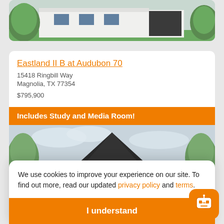[Figure (photo): Partial view of a house exterior rendering, showing roof, white facade, trees, and green lawn — top card cropped]
Eastland II B at Audubon 70
15418 Ringbill Way
Magnolia, TX 77354
$795,900
Includes Study and Media Room!
[Figure (photo): House exterior rendering showing dark roof peak with trees on either side against cloudy sky]
We use cookies to improve your experience on our site. To find out more, read our updated privacy policy and terms.
I understand